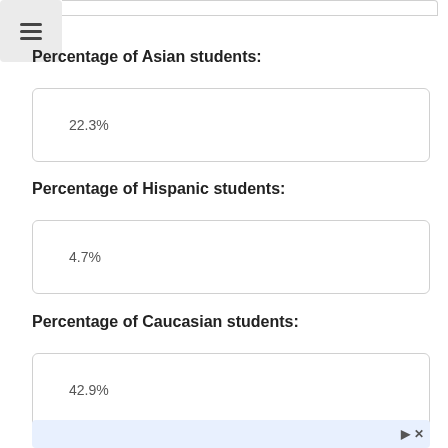Percentage of Asian students:
22.3%
Percentage of Hispanic students:
4.7%
Percentage of Caucasian students:
42.9%